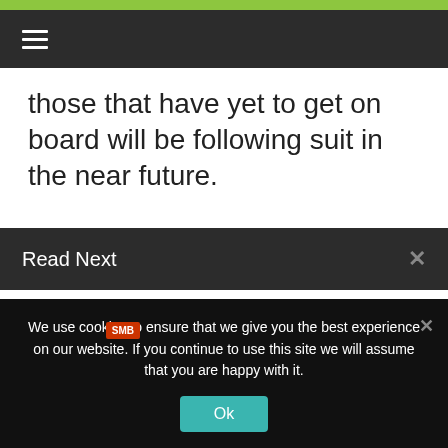☰ (navigation menu)
those that have yet to get on board will be following suit in the near future.
Read Next
[Figure (photo): Person in suit holding an SMB sign card against a golden yellow background]
Delivering Multichannel Support to the SMB Customer
June 1, 2016
We use cookies to ensure that we give you the best experience on our website. If you continue to use this site we will assume that you are happy with it.